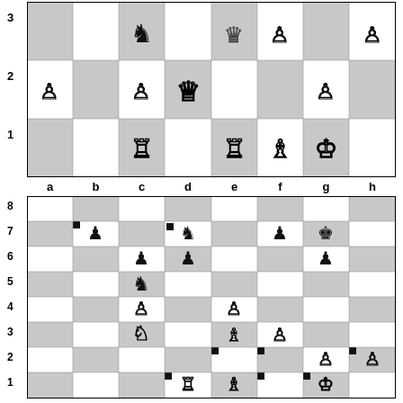[Figure (other): Top partial chess board diagram showing ranks 1-3 with white pieces: pawns, queen, rooks, bishops, knights on various squares]
[Figure (other): Full 8x8 chess board diagram with file labels a-h and rank labels 1-8 showing a mid-game position with black and white pieces]